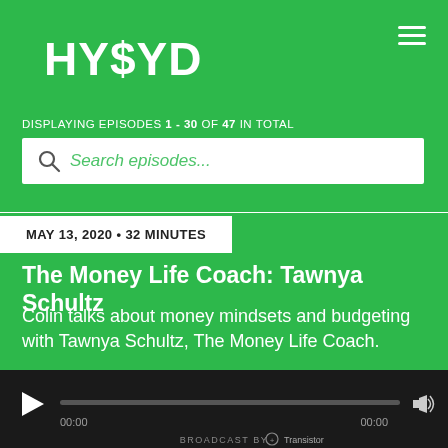HY$YD
DISPLAYING EPISODES 1 - 30 OF 47 IN TOTAL
[Figure (screenshot): Search episodes input box with magnifying glass icon]
MAY 13, 2020 • 32 MINUTES
The Money Life Coach: Tawnya Schultz
Colin talks about money mindsets and budgeting with Tawnya Schultz, The Money Life Coach.
[Figure (screenshot): Audio player bar with play button, progress bar, volume icon, timestamps 00:00 / 00:00, and Transistor broadcast branding]